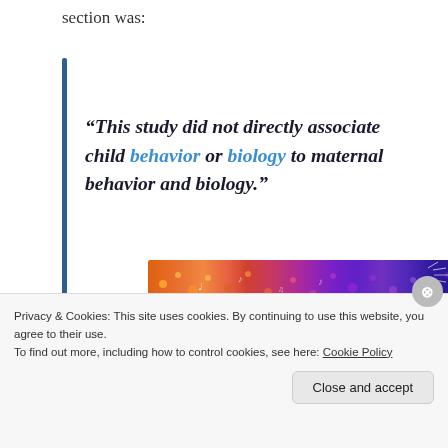section was:
“This study did not directly associate child behavior or biology to maternal behavior and biology.”
[Figure (other): Colorful advertisement banner with gradient from orange to purple with decorative pattern elements]
Privacy & Cookies: This site uses cookies. By continuing to use this website, you agree to their use.
To find out more, including how to control cookies, see here: Cookie Policy
Close and accept